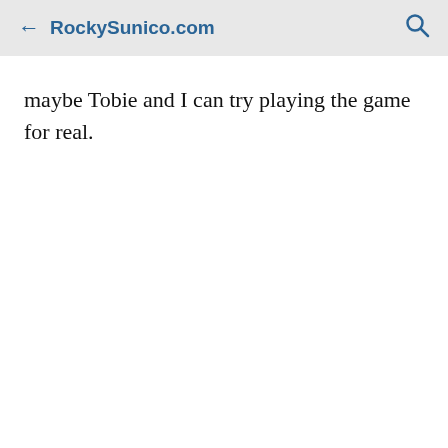← RockySunico.com 🔍
maybe Tobie and I can try playing the game for real.